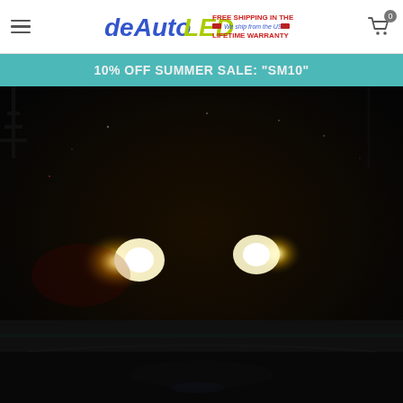deAutoLED — FREE SHIPPING IN THE US · We ship from the USA · LIFETIME WARRANTY
10% OFF SUMMER SALE: "SM10"
[Figure (photo): Dark nighttime photo showing front of a car with two bright white/yellow LED headlights illuminated against a very dark background, ground visible at bottom.]